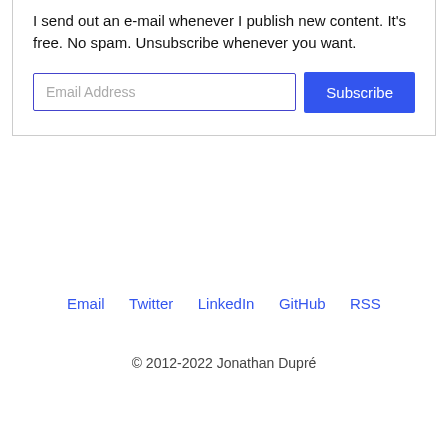I send out an e-mail whenever I publish new content. It's free. No spam. Unsubscribe whenever you want.
Email   Twitter   LinkedIn   GitHub   RSS
© 2012-2022 Jonathan Dupré